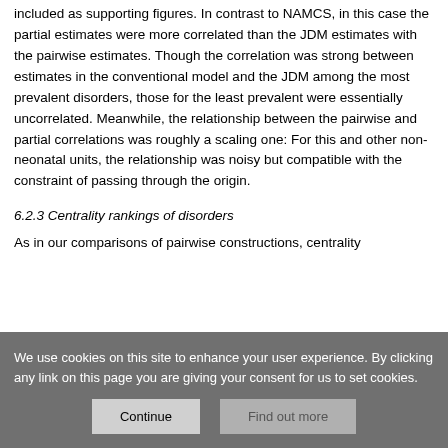included as supporting figures. In contrast to NAMCS, in this case the partial estimates were more correlated than the JDM estimates with the pairwise estimates. Though the correlation was strong between estimates in the conventional model and the JDM among the most prevalent disorders, those for the least prevalent were essentially uncorrelated. Meanwhile, the relationship between the pairwise and partial correlations was roughly a scaling one: For this and other non-neonatal units, the relationship was noisy but compatible with the constraint of passing through the origin.
6.2.3 Centrality rankings of disorders
As in our comparisons of pairwise constructions, centrality
We use cookies on this site to enhance your user experience. By clicking any link on this page you are giving your consent for us to set cookies.